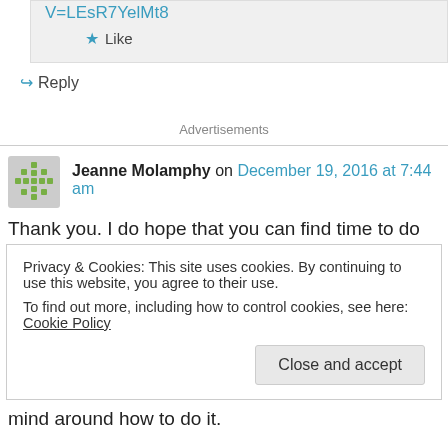V=LEsR7YelMt8
★ Like
↪ Reply
Advertisements
Jeanne Molamphy on December 19, 2016 at 7:44 am
Thank you. I do hope that you can find time to do
Privacy & Cookies: This site uses cookies. By continuing to use this website, you agree to their use.
To find out more, including how to control cookies, see here: Cookie Policy
Close and accept
mind around how to do it.